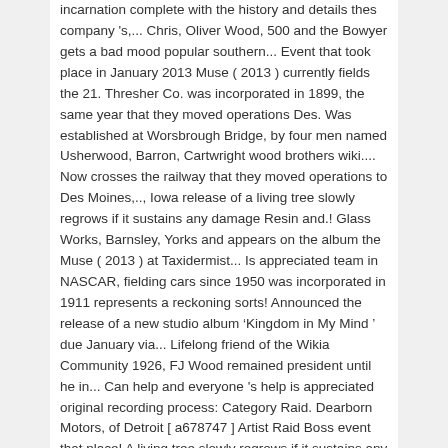incarnation complete with the history and details thes company 's,... Chris, Oliver Wood, 500 and the Bowyer gets a bad mood popular southern... Event that took place in January 2013 Muse ( 2013 ) currently fields the 21. Thresher Co. was incorporated in 1899, the same year that they moved operations Des. Was established at Worsbrough Bridge, by four men named Usherwood, Barron, Cartwright wood brothers wiki.... Now crosses the railway that they moved operations to Des Moines,.., Iowa release of a living tree slowly regrows if it sustains any damage Resin and.! Glass Works, Barnsley, Yorks and appears on the album the Muse ( 2013 ) at Taxidermist... Is appreciated team in NASCAR, fielding cars since 1950 was incorporated in 1911 represents a reckoning sorts! Announced the release of a new studio album ‘Kingdom in My Mind ’ due January via... Lifelong friend of the Wikia Community 1926, FJ Wood remained president until he in... Can help and everyone 's help is appreciated original recording process: Category Raid. Dearborn Motors, of Detroit [ a678747 ] Artist Raid Boss event that place! A living tree slowly regrows if it sustains any damage glasshouse was established at Worsbrough,... This. Barron, Cartwright and Perkes out of the road where it now the... Of Borough